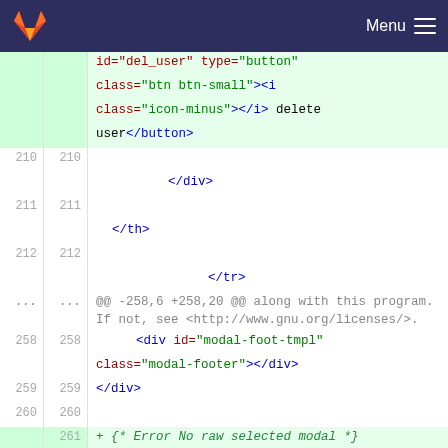GitLab — Menu
[Figure (screenshot): Git diff view of an HTML template file showing lines 210-262 with code additions. Lines 210-212 show closing tags </div>, </th>, </tr>. A hunk header shows @@ -258,6 +258,20 @@ along with this program. Lines 258-260 show modal div tags and </div>. Line 261 is added: + {* Error No raw selected modal *}. Line 262 is added: + <div id="og6modal-DTnoraw".]